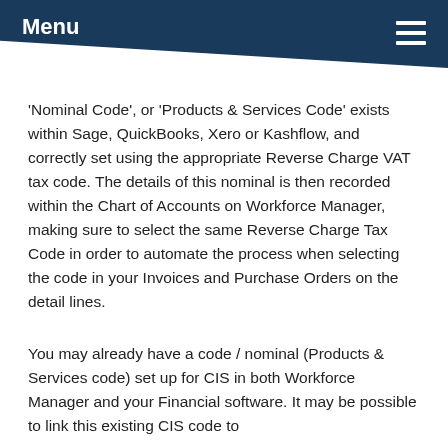Menu
'Nominal Code', or 'Products & Services Code' exists within Sage, QuickBooks, Xero or Kashflow, and correctly set using the appropriate Reverse Charge VAT tax code. The details of this nominal is then recorded within the Chart of Accounts on Workforce Manager, making sure to select the same Reverse Charge Tax Code in order to automate the process when selecting the code in your Invoices and Purchase Orders on the detail lines.
You may already have a code / nominal (Products & Services code) set up for CIS in both Workforce Manager and your Financial software. It may be possible to link this existing CIS code to...